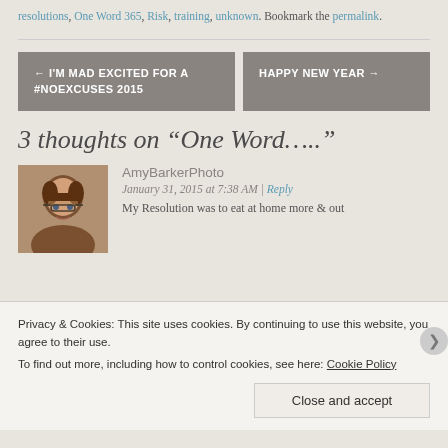resolutions, One Word 365, Risk, training, unknown. Bookmark the permalink.
3 thoughts on “One Word……”
← I’M MAD EXCITED FOR A #NOEXCUSES 2015
HAPPY NEW YEAR →
AmyBarkerPhoto
January 31, 2015 at 7:38 AM | Reply
My Resolution was to eat at home more & out
Privacy & Cookies: This site uses cookies. By continuing to use this website, you agree to their use.
To find out more, including how to control cookies, see here: Cookie Policy
Close and accept